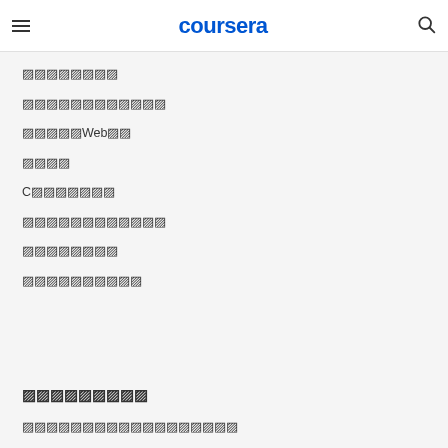coursera
🀆🀆🀆🀆🀆🀆🀆🀆
🀆🀆🀆🀆🀆🀆🀆🀆🀆🀆🀆🀆
🀆🀆🀆🀆🀆Web🀆🀆
🀆🀆🀆🀆
C🀆🀆🀆🀆🀆🀆🀆
🀆🀆🀆🀆🀆🀆🀆🀆🀆🀆🀆🀆
🀆🀆🀆🀆🀆🀆🀆🀆
🀆🀆🀆🀆🀆🀆🀆🀆🀆🀆
🀆🀆🀆🀆🀆🀆🀆🀆🀆
🀆🀆🀆🀆🀆🀆🀆🀆🀆🀆🀆🀆🀆🀆🀆🀆🀆🀆